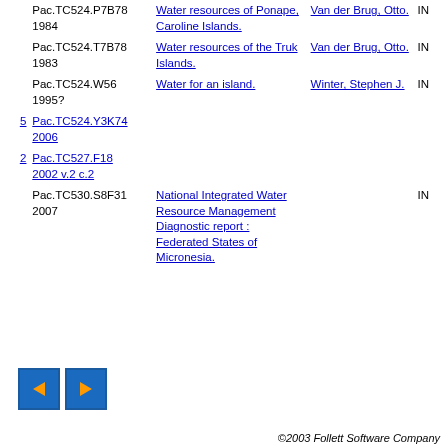| # | Call Number | Title | Author | Status |
| --- | --- | --- | --- | --- |
|  | Pac.TC524.P7B78 1984 | Water resources of Ponape, Caroline Islands. | Van der Brug, Otto. | IN |
|  | Pac.TC524.T7B78 1983 | Water resources of the Truk Islands. | Van der Brug, Otto. | IN |
|  | Pac.TC524.W56 1995? | Water for an island. | Winter, Stephen J. | IN |
| 5 | Pac.TC524.Y3K74 2006 |  |  |  |
| 2 | Pac.TC527.F18 2002 v.2 c.2 |  |  |  |
|  | Pac.TC530.S8F31 2007 | National Integrated Water Resource Management Diagnostic report : Federated States of Micronesia. |  | IN |
©2003 Follett Software Company